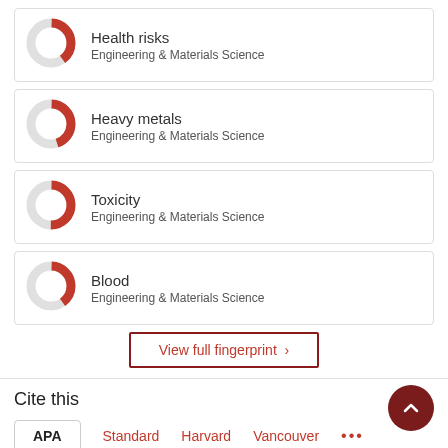[Figure (donut-chart): Donut chart indicator for Health risks, partial fill in red (~40%)]
Health risks
Engineering & Materials Science
[Figure (donut-chart): Donut chart indicator for Heavy metals, partial fill in red (~45%)]
Heavy metals
Engineering & Materials Science
[Figure (donut-chart): Donut chart indicator for Toxicity, partial fill in red (~50%)]
Toxicity
Engineering & Materials Science
[Figure (donut-chart): Donut chart indicator for Blood, partial fill in red (~40%)]
Blood
Engineering & Materials Science
View full fingerprint ›
Cite this
APA    Standard    Harvard    Vancouver    ...